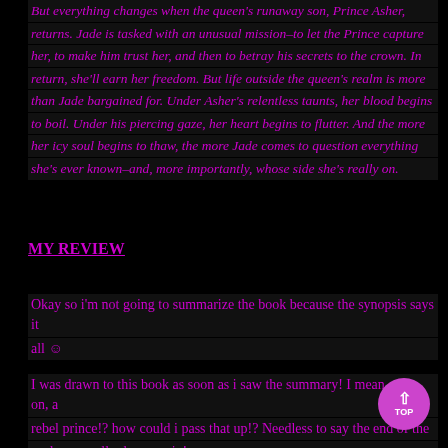But everything changes when the queen's runaway son, Prince Asher, returns. Jade is tasked with an unusual mission–to let the Prince capture her, to make him trust her, and then to betray his secrets to the crown. In return, she'll earn her freedom. But life outside the queen's realm is more than Jade bargained for. Under Asher's relentless taunts, her blood begins to boil. Under his piercing gaze, her heart begins to flutter. And the more her icy soul begins to thaw, the more Jade comes to question everything she's ever known–and, more importantly, whose side she's really on.
MY REVIEW
Okay so i'm not going to summarize the book because the synopsis says it all 😊
I was drawn to this book as soon as i saw the summary! I mean come on, a rebel prince!? how could i pass that up!? Needless to say the end of the prologue really drew me in!